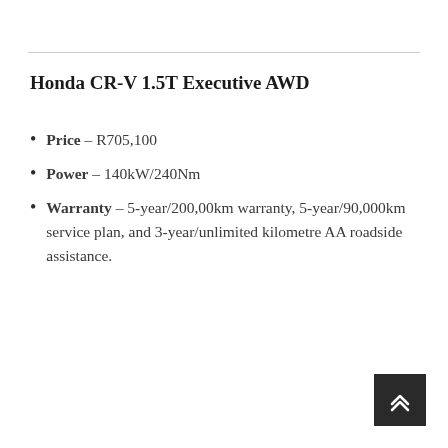Honda CR-V 1.5T Executive AWD
Price – R705,100
Power – 140kW/240Nm
Warranty – 5-year/200,00km warranty, 5-year/90,000km service plan, and 3-year/unlimited kilometre AA roadside assistance.